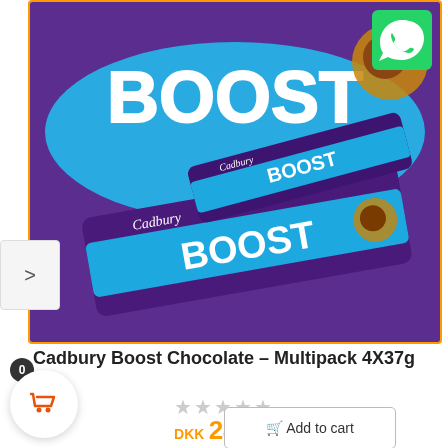[Figure (photo): Cadbury Boost chocolate multipack product image showing purple packaging with blue BOOST branding and a single chocolate bar]
Cadbury Boost Chocolate – Multipack 4X37g
★★★★★ (empty stars, no rating)
DKK 24.99
Add to cart